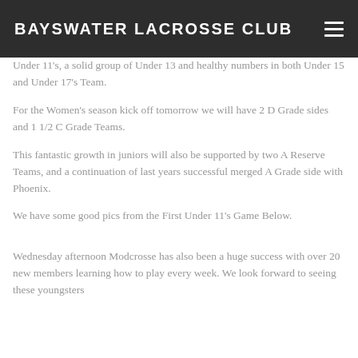BAYSWATER LACROSSE CLUB
Under 11's, a solid group of Under 13 and healthy numbers in both Under 15 and Under 17's Team.
For the Women's season kick off tomorrow we will have 2 D Grade sides and 1 1/2 C Grade Teams.
This fantastic growth in juniors will also be supported by two A Reserve Teams, and a continuation of last years successful merged A Grade side with Phoenix.
We have some good pics from the First Under 11's Game Below.
Wednesday afternoon Modcrosse has also been a huge success with over 20 new members learning how to play every week. We look forward to seeing these youngsters